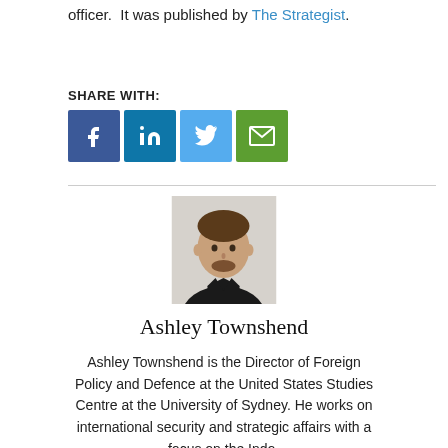officer.  It was published by The Strategist.
SHARE WITH:
[Figure (infographic): Social media share buttons: Facebook, LinkedIn, Twitter, Email]
[Figure (photo): Headshot of Ashley Townshend, a man in a dark suit with white shirt, light background]
Ashley Townshend
Ashley Townshend is the Director of Foreign Policy and Defence at the United States Studies Centre at the University of Sydney. He works on international security and strategic affairs with a focus on the Indo-Pacific, including questions challenging and strategic...